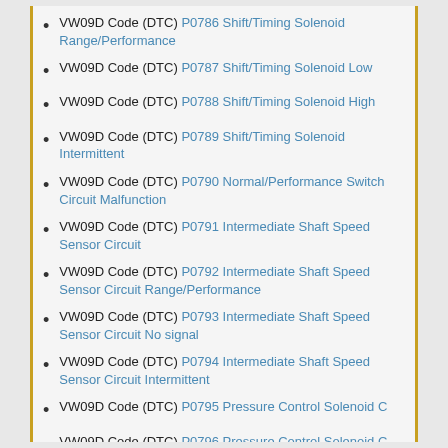VW09D Code (DTC) P0786 Shift/Timing Solenoid Range/Performance
VW09D Code (DTC) P0787 Shift/Timing Solenoid Low
VW09D Code (DTC) P0788 Shift/Timing Solenoid High
VW09D Code (DTC) P0789 Shift/Timing Solenoid Intermittent
VW09D Code (DTC) P0790 Normal/Performance Switch Circuit Malfunction
VW09D Code (DTC) P0791 Intermediate Shaft Speed Sensor Circuit
VW09D Code (DTC) P0792 Intermediate Shaft Speed Sensor Circuit Range/Performance
VW09D Code (DTC) P0793 Intermediate Shaft Speed Sensor Circuit No signal
VW09D Code (DTC) P0794 Intermediate Shaft Speed Sensor Circuit Intermittent
VW09D Code (DTC) P0795 Pressure Control Solenoid C
VW09D Code (DTC) P0796 Pressure Control Solenoid C Performance or Stuck off